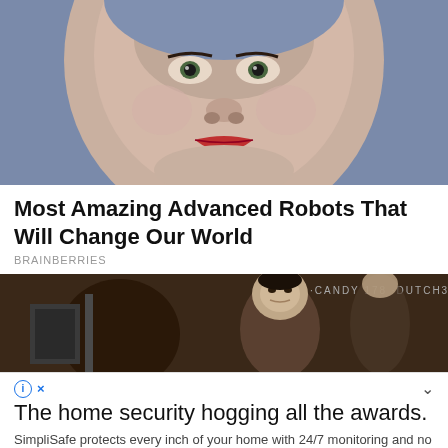[Figure (photo): Close-up of a humanoid robot face with realistic skin, red lips, and blue background]
Most Amazing Advanced Robots That Will Change Our World
BRAINBERRIES
[Figure (photo): Photo of people with graffiti text 'CANDY 178', 'DUTCH32', 'MALCOLM' visible in background]
The home security hogging all the awards.
SimpliSafe protects every inch of your home with 24/7 monitoring and no contract. Winner of CNET Editors' Choice (3/2018). Prote...
continue